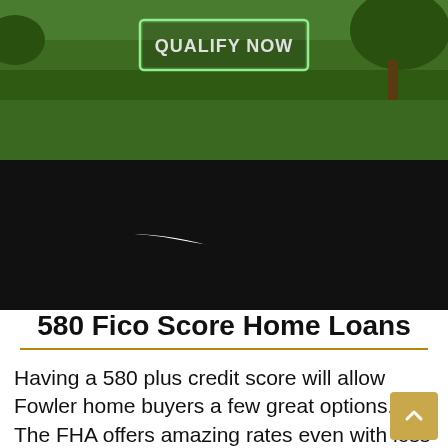[Figure (photo): Green lawn/grass banner image with a 'QUALIFY NOW' button outlined in green/white, and small text reading 'NMLS 222289 Not A Government Agency Equal Opportunity Lender']
580 Fico Score Home Loans
Having a 580 plus credit score will allow Fowler home buyers a few great options. The FHA offers amazing rates even with less than perfect credit. With a 580 credit score a down payment of 3.5% will be needed. The